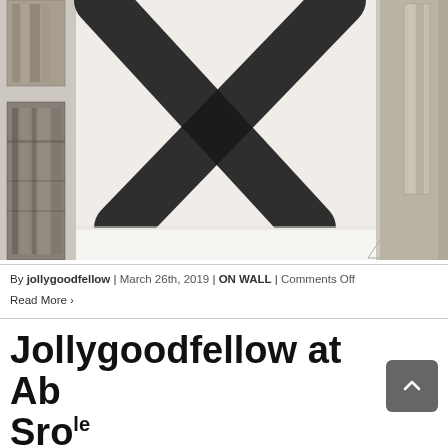[Figure (photo): Gallery installation photo showing a large abstract painting with a bold black X shape on white canvas in the center, flanked by two narrow vertical wooden sculptural panels on the left (one small at top, one tall below), a right panel with hanging fabric or material, and a white gallery floor with a triangular geometric form in the lower right area.]
By jollygoodfellow | March 26th, 2019 | ON WALL | Comments Off
Read More ›
Jollygoodfellow at Ab Sro le